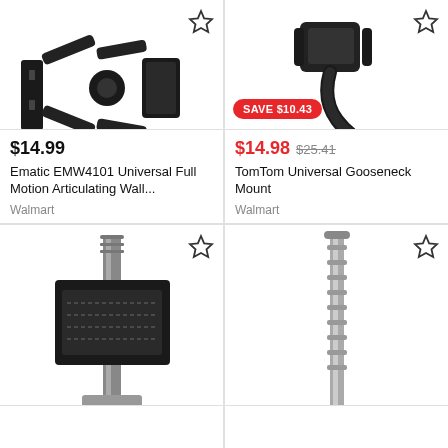[Figure (photo): Ematic EMW4101 Universal Full Motion Articulating Wall Mount bracket, black metal, on white background]
$14.99
Ematic EMW4101 Universal Full Motion Articulating Wall...
Walmart
[Figure (photo): TomTom Universal Gooseneck Mount with suction cup base, black, on white background]
SAVE $10.43
$14.98  $25.41
TomTom Universal Gooseneck Mount
Walmart
[Figure (photo): Floor-standing flat TV wall mount bracket with pole stand, black/silver metal]
[Figure (photo): Tall thin metallic stand or pole mount, silver/chrome, partial view]